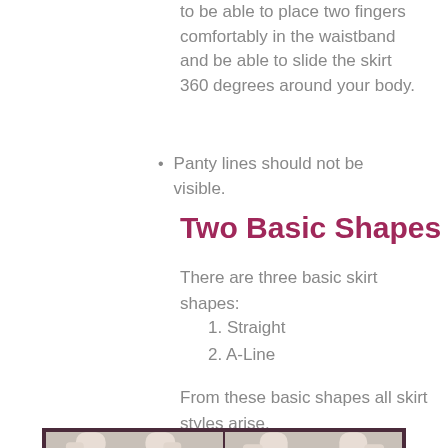There should be enough ease for you to be able to place two fingers comfortably in the waistband and be able to slide the skirt 360 degrees around your body.
Panty lines should not be visible.
Two Basic Shapes
There are three basic skirt shapes:
1. Straight
2. A-Line
From these basic shapes all skirt styles arise.
[Figure (photo): Two photos side by side showing skirt styles on models, framed with dark maroon border]